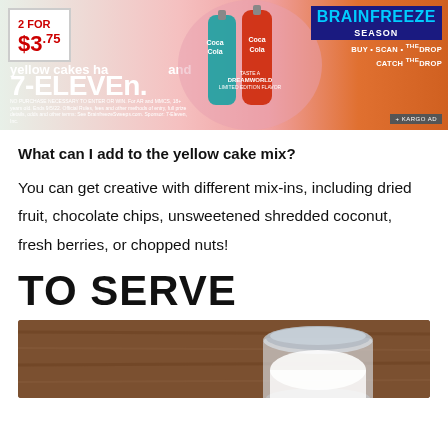[Figure (photo): 7-Eleven advertisement banner featuring Coca-Cola Dreamworld limited edition bottles, 2 for $3.75 price tag, Brainfreeze Season promotion with Buy Scan Catch the Drop text, and Kargo ad label]
What can I add to the yellow cake mix?
You can get creative with different mix-ins, including dried fruit, chocolate chips, unsweetened shredded coconut, fresh berries, or chopped nuts!
TO SERVE
[Figure (photo): Photo of a glass mason jar filled with white powder (likely sugar or flour) on a wooden surface]